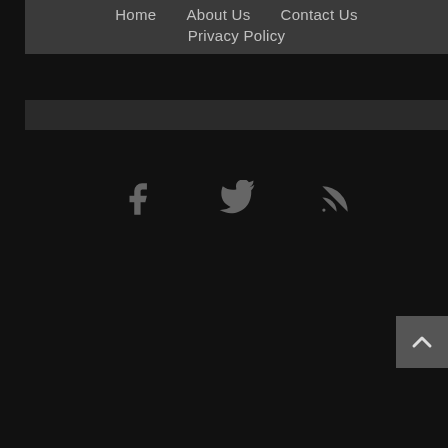Home   About Us   Contact Us   Privacy Policy
[Figure (illustration): Social media icons: Facebook (f), Twitter (bird), RSS feed icon, in gray on dark background]
[Figure (illustration): Scroll-to-top button with upward caret arrow, gray button on right edge]